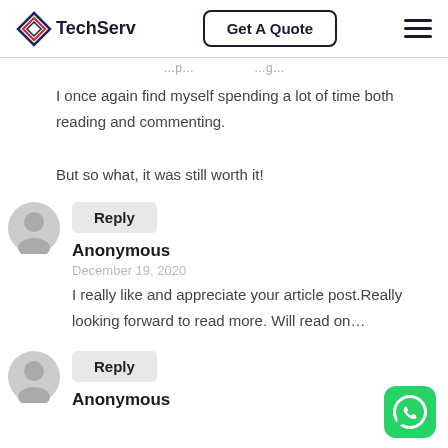TechServ | Get A Quote
I once again find myself spending a lot of time both reading and commenting.
But so what, it was still worth it!
Reply
Anonymous
December 19, 2020
I really like and appreciate your article post.Really looking forward to read more. Will read on…
Reply
Anonymous